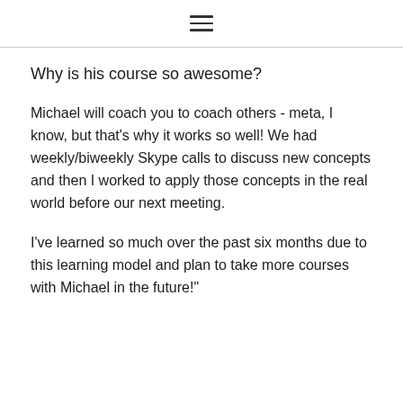≡
Why is his course so awesome?
Michael will coach you to coach others - meta, I know, but that's why it works so well! We had weekly/biweekly Skype calls to discuss new concepts and then I worked to apply those concepts in the real world before our next meeting.
I've learned so much over the past six months due to this learning model and plan to take more courses with Michael in the future!"